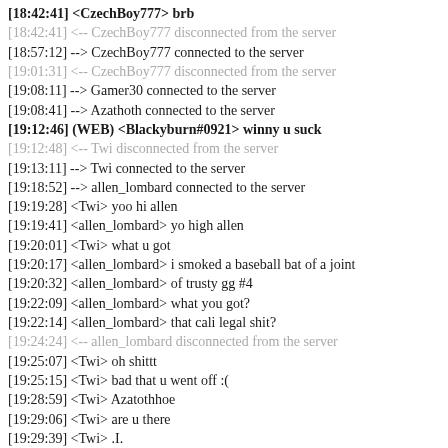[18:42:41] <CzechBoy777> brb
[18:42:41] <-- CzechBoy777 disconnected from the server
[18:57:12] --> CzechBoy777 connected to the server
[19:01:31] <-- CzechBoy777 disconnected from the server
[19:08:11] --> Gamer30 connected to the server
[19:08:41] --> Azathoth connected to the server
[19:12:46] (WEB) <Blackyburn#0921> winny u suck
[19:12:48] <-- Twi disconnected from the server
[19:13:11] --> Twi connected to the server
[19:18:52] --> allen_lombard connected to the server
[19:19:28] <Twi> yoo hi allen
[19:19:41] <allen_lombard> yo high allen
[19:20:01] <Twi> what u got
[19:20:17] <allen_lombard> i smoked a baseball bat of a joint
[19:20:32] <allen_lombard> of trusty gg #4
[19:22:09] <allen_lombard> what you got?
[19:22:14] <allen_lombard> that cali legal shit?
[19:24:24] <-- allen_lombard disconnected from the server
[19:25:07] <Twi> oh shittt
[19:25:15] <Twi> bad that u went off :(
[19:28:59] <Twi> Azatothhoe
[19:29:06] <Twi> are u there
[19:29:39] <Twi> .I.
[19:29:39] <-- Twi disconnected from the server
[19:30:56] <-- Gamer30 disconnected from the server